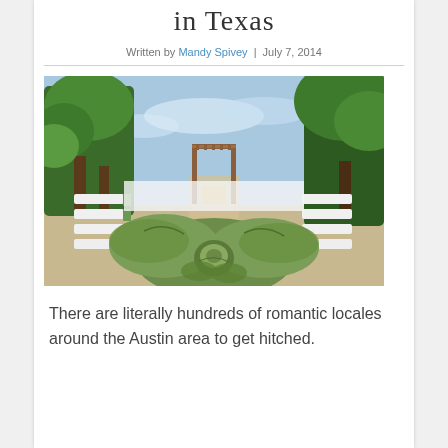in Texas
Written by Mandy Spivey | July 7, 2014
[Figure (photo): Outdoor wedding ceremony venue with white pews arranged along an aisle, a wooden pergola arch at the end, large oak trees in background, and a green fabric bow/sash in the foreground]
There are literally hundreds of romantic locales around the Austin area to get hitched.